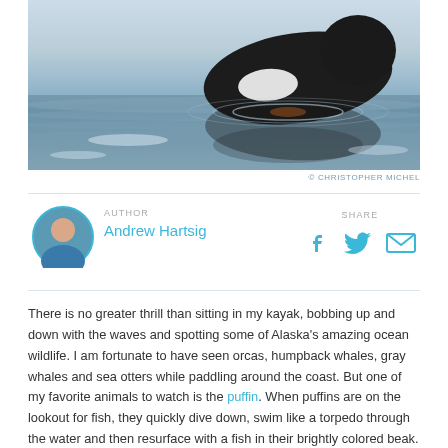[Figure (photo): A dark seabird (puffin/murre) sitting on water with its reflection visible, blue-grey water background]
© CHRISTOPHER MICHEL
AUTHOR
Andrew Hartsig
SHARE
There is no greater thrill than sitting in my kayak, bobbing up and down with the waves and spotting some of Alaska's amazing ocean wildlife. I am fortunate to have seen orcas, humpback whales, gray whales and sea otters while paddling around the coast. But one of my favorite animals to watch is the puffin. When puffins are on the lookout for fish, they quickly dive down, swim like a torpedo through the water and then resurface with a fish in their brightly colored beak. Brush up on your knowledge of these